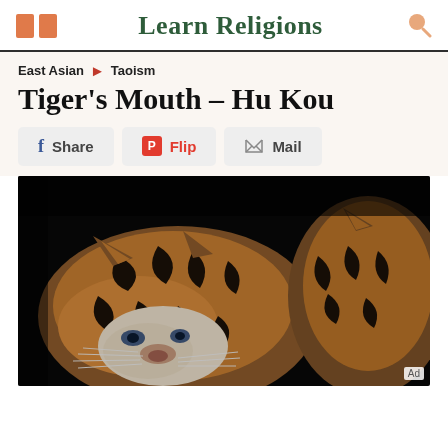Learn Religions
East Asian > Taoism
Tiger's Mouth – Hu Kou
Share | Flip | Mail
[Figure (photo): Close-up photograph of a tiger's face against a dark background, showing orange and black striped fur, whiskers, and a second tiger partially visible on the right side.]